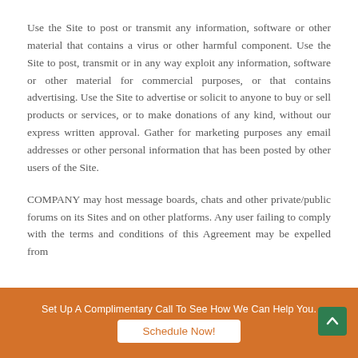Use the Site to post or transmit any information, software or other material that contains a virus or other harmful component. Use the Site to post, transmit or in any way exploit any information, software or other material for commercial purposes, or that contains advertising. Use the Site to advertise or solicit to anyone to buy or sell products or services, or to make donations of any kind, without our express written approval. Gather for marketing purposes any email addresses or other personal information that has been posted by other users of the Site.
COMPANY may host message boards, chats and other private/public forums on its Sites and on other platforms. Any user failing to comply with the terms and conditions of this Agreement may be expelled from
Set Up A Complimentary Call To See How We Can Help You.